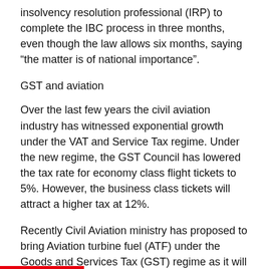insolvency resolution professional (IRP) to complete the IBC process in three months, even though the law allows six months, saying “the matter is of national importance”.
GST and aviation
Over the last few years the civil aviation industry has witnessed exponential growth under the VAT and Service Tax regime. Under the new regime, the GST Council has lowered the tax rate for economy class flight tickets to 5%. However, the business class tickets will attract a higher tax at 12%.
Recently Civil Aviation ministry has proposed to bring Aviation turbine fuel (ATF) under the Goods and Services Tax (GST) regime as it will ensure a level playing field for the domestic airline industry. Now different rates of taxes in states is pushing the price of ATF as the refuelling (for